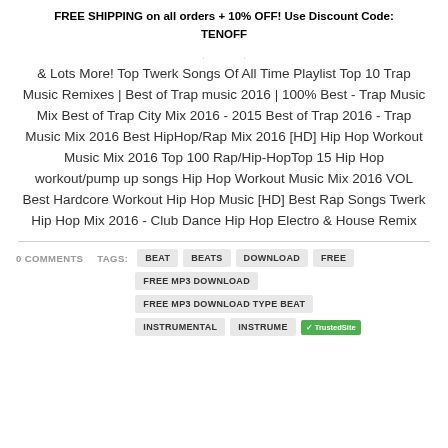FREE SHIPPING on all orders + 10% OFF! Use Discount Code: TENOFF
& Lots More! Top Twerk Songs Of All Time Playlist Top 10 Trap Music Remixes | Best of Trap music 2016 | 100% Best - Trap Music Mix Best of Trap City Mix 2016 - 2015 Best of Trap 2016 - Trap Music Mix 2016 Best HipHop/Rap Mix 2016 [HD] Hip Hop Workout Music Mix 2016 Top 100 Rap/Hip-HopTop 15 Hip Hop workout/pump up songs Hip Hop Workout Music Mix 2016 VOL Best Hardcore Workout Hip Hop Music [HD] Best Rap Songs Twerk Hip Hop Mix 2016 - Club Dance Hip Hop Electro & House Remix
0 COMMENTS
TAGS: BEAT BEATS DOWNLOAD FREE FREE MP3 DOWNLOAD FREE MP3 DOWNLOAD TYPE BEAT INSTRUMENTAL INSTRUME...